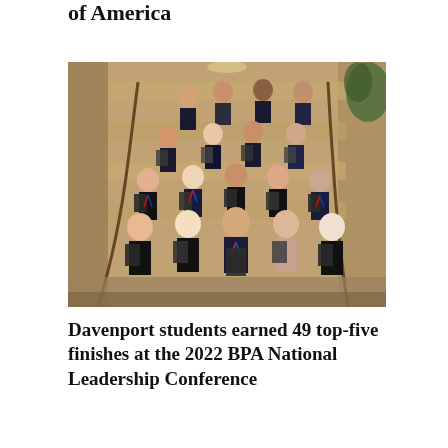of America
[Figure (photo): A group of approximately 20 Davenport University students posing on a grand staircase in formal business attire, many holding award plaques and wearing medals with red, white, and blue ribbons around their necks.]
Davenport students earned 49 top-five finishes at the 2022 BPA National Leadership Conference